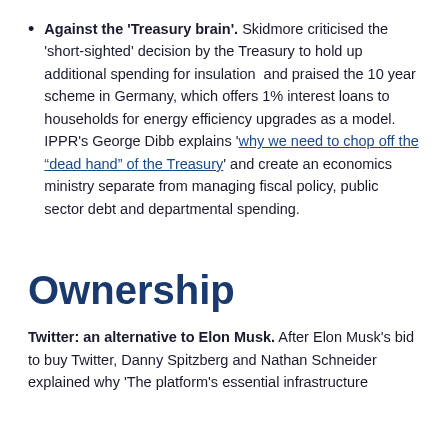Against the 'Treasury brain'. Skidmore criticised the 'short-sighted' decision by the Treasury to hold up additional spending for insulation and praised the 10 year scheme in Germany, which offers 1% interest loans to households for energy efficiency upgrades as a model. IPPR's George Dibb explains 'why we need to chop off the "dead hand" of the Treasury' and create an economics ministry separate from managing fiscal policy, public sector debt and departmental spending.
Ownership
Twitter: an alternative to Elon Musk. After Elon Musk's bid to buy Twitter, Danny Spitzberg and Nathan Schneider explained why 'The platform's essential infrastructure...